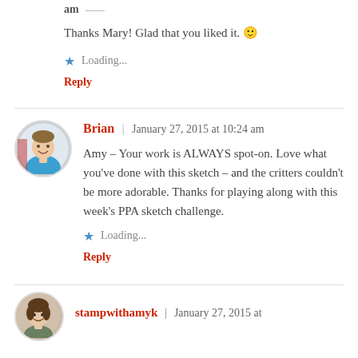am
Thanks Mary! Glad that you liked it. 🙂
Loading...
Reply
Brian | January 27, 2015 at 10:24 am
Amy – Your work is ALWAYS spot-on. Love what you've done with this sketch – and the critters couldn't be more adorable. Thanks for playing along with this week's PPA sketch challenge.
Loading...
Reply
stampwithamyk | January 27, 2015 at